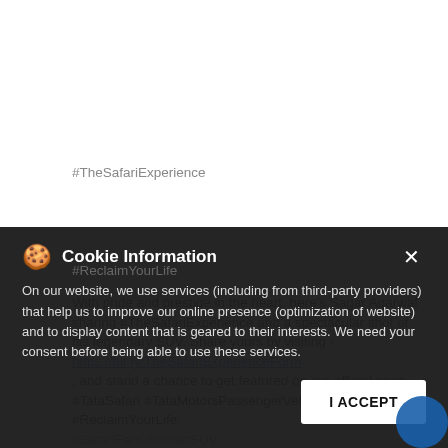With pride and prestige in the heart, here's Sagar Agarwal sharing #TheSafariExperience and a spectacular shot of his legendary SUV. Share yours by visiting - https://bit.ly/TheSafariExperienceForm , and stand a chance to get featured on our official page. #TataSafari #TataMotorsPassengerVehicles #ReclaimYourLife #SafariFam #IndianSUV
#TheSafariExperience
#ReclaimYourLife
#SafariFam
#IndianSUV
Cookie Information
On our website, we use services (including from third-party providers) that help us to improve our online presence (optimization of website) and to display content that is geared to their interests. We need your consent before being able to use these services.
I ACCEPT